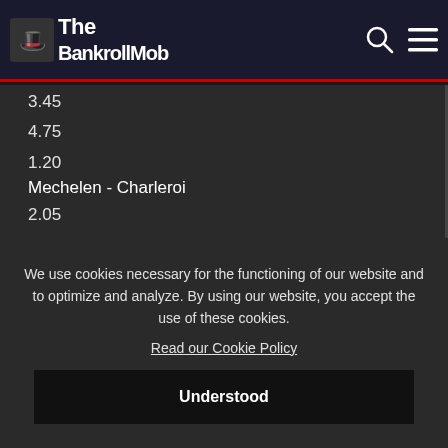The BankrollMob
3.45
4.75
1.20
Mechelen - Charleroi
2.05
3.10
2.95
Hamburg - Karlsruhe
1.98
3.15
3.05
GL!!! 🙂
We use cookies necessary for the functioning of our website and to optimize and analyze. By using our website, you accept the use of these cookies.
Read our Cookie Policy
Understood